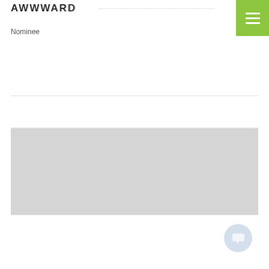AWWWARD
Nominee
[Figure (other): Gray placeholder image block representing a website screenshot or content preview area]
[Figure (other): Circular chat button icon in light blue/gray]